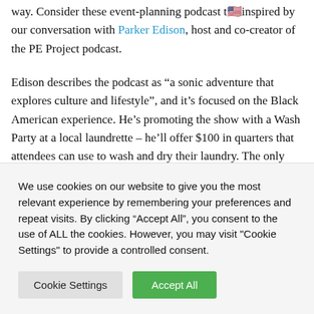way. Consider these event-planning podcast tips inspired by our conversation with Parker Edison, host and co-creator of the PE Project podcast.
Edison describes the podcast as “a sonic adventure that explores culture and lifestyle”, and it’s focused on the Black American experience. He’s promoting the show with a Wash Party at a local laundrette – he’ll offer $100 in quarters that attendees can use to wash and dry their laundry. The only requirement is that they bring headphones and listen to
We use cookies on our website to give you the most relevant experience by remembering your preferences and repeat visits. By clicking “Accept All”, you consent to the use of ALL the cookies. However, you may visit "Cookie Settings" to provide a controlled consent.